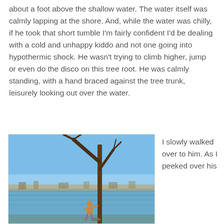about a foot above the shallow water.  The water itself was calmly lapping at the shore.  And, while the water was chilly, if he took that short tumble I'm fairly confident I'd be dealing with a cold and unhappy kiddo and not one going into hypothermic shock.  He wasn't trying to climb higher, jump or even do the disco on this tree root.  He was calmly standing, with a hand braced against the tree trunk, leisurely looking out over the water.
[Figure (photo): A child standing near the base of a bare tree at the edge of a lake or reservoir, viewed from behind. Blue sky reflected in calm water, with a distant shoreline visible.]
I slowly walked over to him.  As I peeked over his